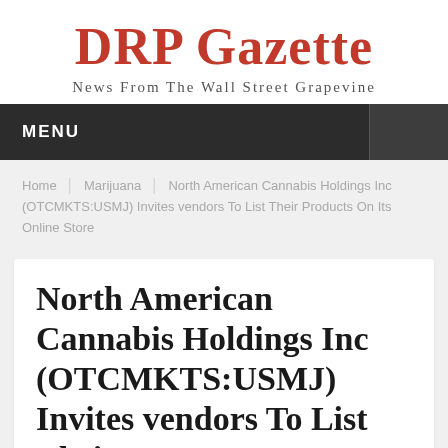DRP Gazette
News From The Wall Street Grapevine
MENU
Home | Marijuana | North American Cannabis Holdings Inc (OTCMKTS:USMJ) Invites vendors To List Their Products On Its Online Store
North American Cannabis Holdings Inc (OTCMKTS:USMJ) Invites vendors To List Their...